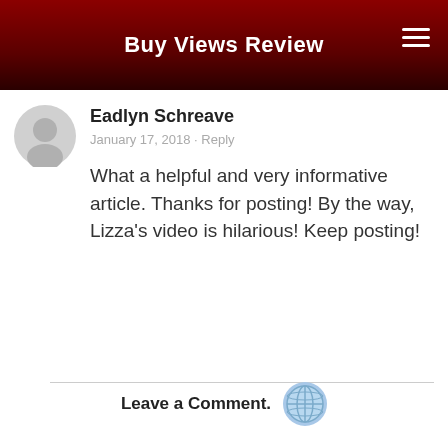Buy Views Review
Eadlyn Schreave
January 17, 2018 · Reply
What a helpful and very informative article. Thanks for posting! By the way, Lizza's video is hilarious! Keep posting!
Leave a Comment.